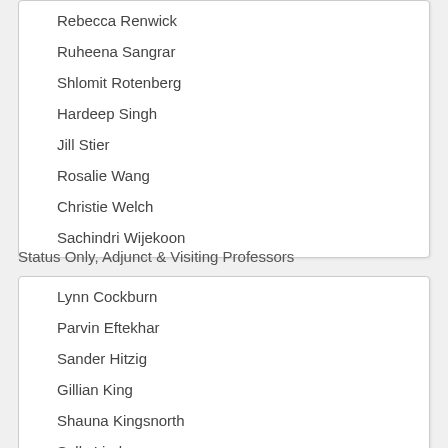Rebecca Renwick
Ruheena Sangrar
Shlomit Rotenberg
Hardeep Singh
Jill Stier
Rosalie Wang
Christie Welch
Sachindri Wijekoon
Status Only, Adjunct & Visiting Professors
Lynn Cockburn
Parvin Eftekhar
Sander Hitzig
Gillian King
Shauna Kingsnorth
Sally Lindsay
Roula Markoulakis
Tatyana Mollayeva
Kevin Pool